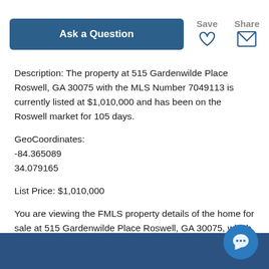[Figure (screenshot): Ask a Question button, Save (heart icon), and Share (envelope icon) header buttons]
Description: The property at 515 Gardenwilde Place Roswell, GA 30075 with the MLS Number 7049113 is currently listed at $1,010,000 and has been on the Roswell market for 105 days.
GeoCoordinates:
-84.365089
34.079165
List Price: $1,010,000
You are viewing the FMLS property details of the home for sale at 515 Gardenwilde Place Roswell, GA 30075, which is located in the Edenwilde subdivision, includes 6 bedrooms, 5 bathrooms, and has approximately 4725 sq.ft. of living area.